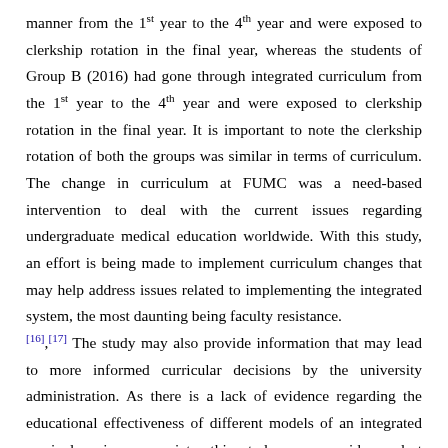manner from the 1st year to the 4th year and were exposed to clerkship rotation in the final year, whereas the students of Group B (2016) had gone through integrated curriculum from the 1st year to the 4th year and were exposed to clerkship rotation in the final year. It is important to note the clerkship rotation of both the groups was similar in terms of curriculum. The change in curriculum at FUMC was a need-based intervention to deal with the current issues regarding undergraduate medical education worldwide. With this study, an effort is being made to implement curriculum changes that may help address issues related to implementing the integrated system, the most daunting being faculty resistance. [16],[17] The study may also provide information that may lead to more informed curricular decisions by the university administration. As there is a lack of evidence regarding the educational effectiveness of different models of an integrated curriculum in our society, this study may provide modest evidence for the effectiveness of the integrated curriculum in our setup. The evidence generated may lead to enhancement of the learning abilities and skills of the graduating students. Furthermore, it may help convince the stakeholders about its utility which will also facilitate the wholehearted implementation of the system. Many institutions face resistance from their stakeholders, especially the faculty